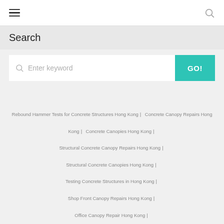[Figure (other): Top navigation bar with hamburger menu icon on left and search icon on right]
Search
[Figure (other): Search input field with placeholder 'Enter keyword' and a teal GO! button]
Rebound Hammer Tests for Concrete Structures Hong Kong | Concrete Canopy Repairs Hong Kong | Concrete Canopies Hong Kong | Structural Concrete Canopy Repairs Hong Kong | Structural Concrete Canopies Hong Kong | Testing Concrete Structures in Hong Kong | Shop Front Canopy Repairs Hong Kong | Office Canopy Repair Hong Kong | Building Canopy Repair Hong Kong | Canopy Repair Hong Kong |